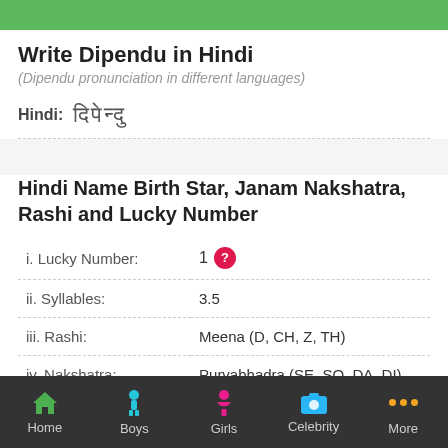Write Dipendu in Hindi
(Dipendu pronunciation in different languages)
Hindi: दिपेन्दु
Hindi Name Birth Star, Janam Nakshatra, Rashi and Lucky Number
|  |  |
| --- | --- |
| i. Lucky Number: | 1 ? |
| ii. Syllables: | 3.5 |
| iii. Rashi: | Meena (D, CH, Z, TH) |
| iv. Nakshatra: | Purvabhadra (SE, SO, DA, DI) |
Home  Boys  Girls  Celebrity  More